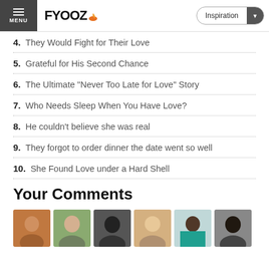FYOOZ — Inspiration
4. They Would Fight for Their Love
5. Grateful for His Second Chance
6. The Ultimate "Never Too Late for Love" Story
7. Who Needs Sleep When You Have Love?
8. He couldn't believe she was real
9. They forgot to order dinner the date went so well
10. She Found Love under a Hard Shell
Your Comments
[Figure (photo): Six profile photo avatars of women]